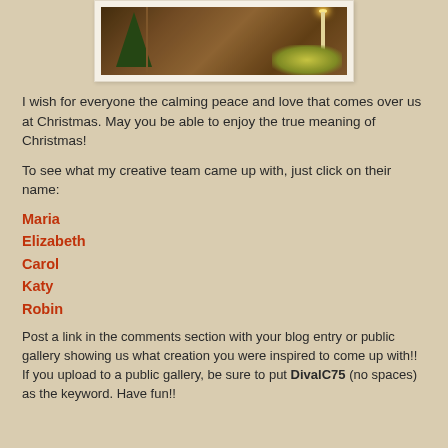[Figure (photo): Christmas scene photo showing a decorated interior with a Christmas tree, candles, and floral arrangements on a table, framed with a white border]
I wish for everyone the calming peace and love that comes over us at Christmas. May you be able to enjoy the true meaning of Christmas!
To see what my creative team came up with, just click on their name:
Maria
Elizabeth
Carol
Katy
Robin
Post a link in the comments section with your blog entry or public gallery showing us what creation you were inspired to come up with!! If you upload to a public gallery, be sure to put DivalC75 (no spaces) as the keyword. Have fun!!